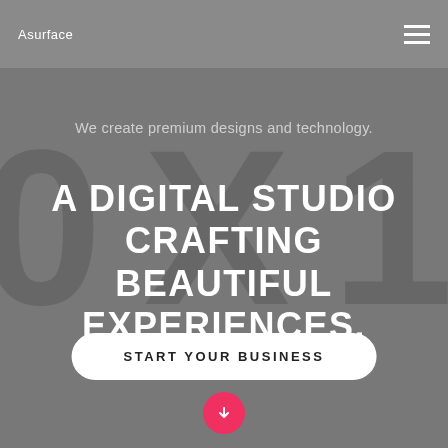Asurface
We create premium designs and technology.
A DIGITAL STUDIO CRAFTING BEAUTIFUL EXPERIENCES.
START YOUR BUSINESS